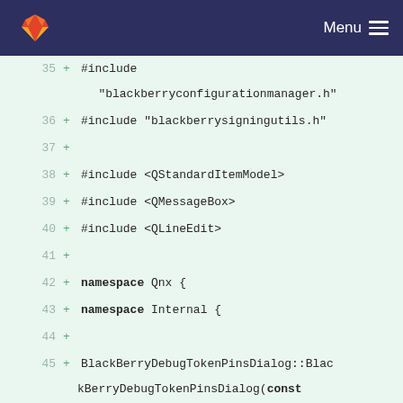[Figure (screenshot): GitLab navigation bar with orange fox logo and Menu hamburger button on dark navy background]
35 + #include "blackberryconfigurationmanager.h"
36 + #include "blackberrysigningutils.h"
37 +
38 + #include <QStandardItemModel>
39 + #include <QMessageBox>
40 + #include <QLineEdit>
41 +
42 + namespace Qnx {
43 + namespace Internal {
44 +
45 + BlackBerryDebugTokenPinsDialog::BlackBerryDebugTokenPinsDialog(const QString &debugToken, QWidget *parent) :
46 +     QDialog(parent),
47 +     ui(new Ui_BlackBerryDebugTokenPinsDialog),
48 +     m_model(new QStandardItemModel(this)),
49 +     m_debugTokenPath(debugToken)